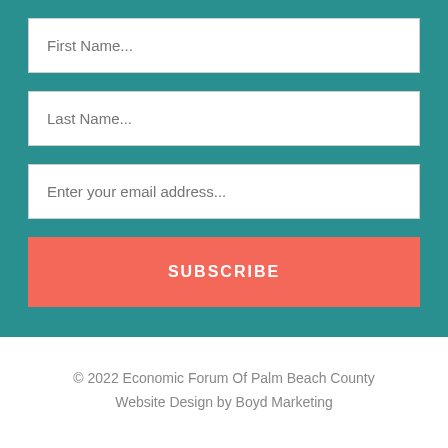[Figure (screenshot): A subscription form with teal background containing three input fields (First Name, Last Name, email address) and a coral Subscribe button]
© 2022 Economic Forum Of Palm Beach County
Website Design by Boyd Marketing